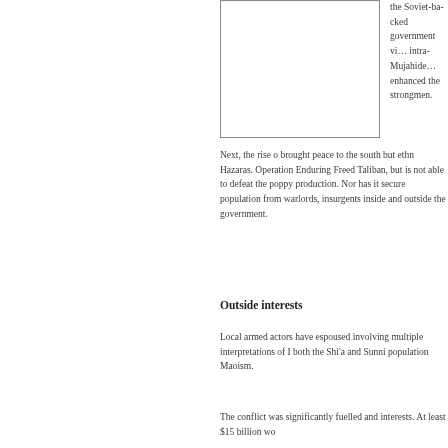[Figure (other): Rectangular image box (partially visible, cropped at top), bordered rectangle placeholder]
the Soviet-backed government vi… intra-Mujahide… enhanced the strongmen.
Next, the rise … brought peace to the south but ethn… Hazaras. Operation Enduring Freed… Taliban, but is not able to defeat the… poppy production. Nor has it secure… population from warlords, insurgents… inside and outside the government.
Outside interests
Local armed actors have espoused … involving multiple interpretations of I… both the Shi'a and Sunni population… Maoism.
The conflict was significantly fuelled … and interests. At least $15 billion wo…